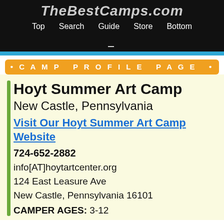TheBestCamps.com
Top   Search   Guide   Store   Bottom
• CAMP PROFILE PAGE •
Hoyt Summer Art Camp
New Castle, Pennsylvania
Visit Our Hoyt Summer Art Camp Website
724-652-2882
info[AT]hoytartcenter.org
124 East Leasure Ave
New Castle, Pennsylvania 16101
CAMPER AGES: 3-12